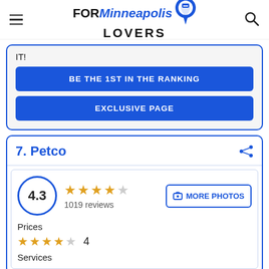FOR Minneapolis LOVERS
IT!
BE THE 1ST IN THE RANKING
EXCLUSIVE PAGE
7. Petco
4.3 — 1019 reviews — MORE PHOTOS
Prices
4
Services